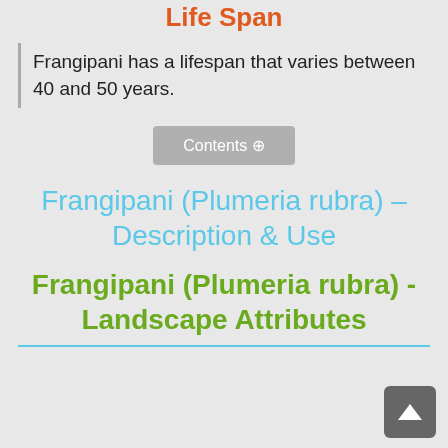Life Span
Frangipani has a lifespan that varies between 40 and 50 years.
[Figure (other): Contents button with navigation icon]
Frangipani (Plumeria rubra) – Description & Use
Frangipani (Plumeria rubra) - Landscape Attributes